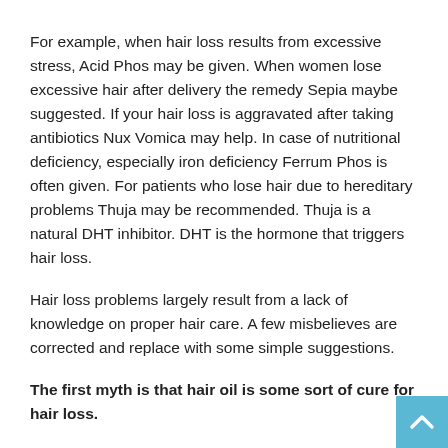For example, when hair loss results from excessive stress, Acid Phos may be given. When women lose excessive hair after delivery the remedy Sepia maybe suggested. If your hair loss is aggravated after taking antibiotics Nux Vomica may help. In case of nutritional deficiency, especially iron deficiency Ferrum Phos is often given. For patients who lose hair due to hereditary problems Thuja may be recommended. Thuja is a natural DHT inhibitor. DHT is the hormone that triggers hair loss.
Hair loss problems largely result from a lack of knowledge on proper hair care. A few misbelieves are corrected and replace with some simple suggestions.
The first myth is that hair oil is some sort of cure for hair loss.